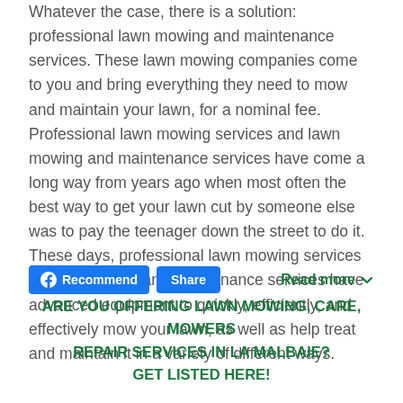Whatever the case, there is a solution: professional lawn mowing and maintenance services. These lawn mowing companies come to you and bring everything they need to mow and maintain your lawn, for a nominal fee. Professional lawn mowing services and lawn mowing and maintenance services have come a long way from years ago when most often the best way to get your lawn cut by someone else was to pay the teenager down the street to do it. These days, professional lawn mowing services or lawn mowing and maintenance services have advanced equipment to quickly, efficiently, and effectively mow your lawn, as well as help treat and maintain it in a variety of different ways.
Recommend | Share | Read more
ARE YOU OFFERING LAWN MOWING, CARE, MOWERS REPAIR SERVICES IN LA MALBAIE? GET LISTED HERE!